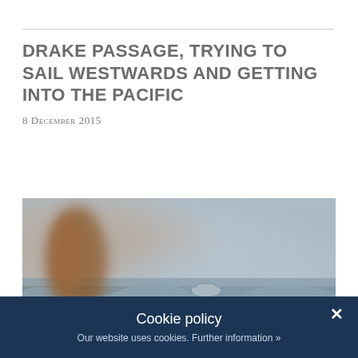DRAKE PASSAGE, TRYING TO SAIL WESTWARDS AND GETTING INTO THE PACIFIC
8 December 2015
[Figure (photo): Ocean scene with rough seas under a grey sky; a blurred brown object (likely part of a bird or boat) in the foreground left, and a seabird visible mid-frame over choppy waves.]
Cookie policy
Our website uses cookies. Further information »